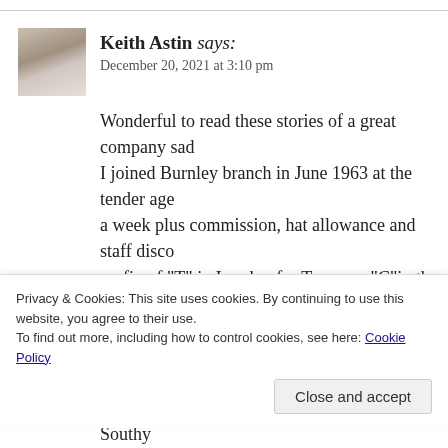Keith Astin says:
December 20, 2021 at 3:10 pm
Wonderful to read these stories of a great company sad... I joined Burnley branch in June 1963 at the tender age... a week plus commission, hat allowance and staff disco... prefix of "T" in London for Town, or "C"in the rest of... was C29 and was managed by Ernest Brown a distingu... travelled in each day from Blackburn. The regional manager was Mr W L Wright from Southy... times a year, one visit being for a stocktake where ever... counted. Each week stock sheets showing every single...
Privacy & Cookies: This site uses cookies. By continuing to use this website, you agree to their use.
To find out more, including how to control cookies, see here: Cookie Policy
Close and accept